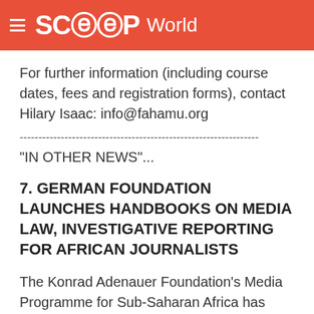SCOOP World
For further information (including course dates, fees and registration forms), contact Hilary Isaac: info@fahamu.org
----------------------------------------------------------------
"IN OTHER NEWS"...
7. GERMAN FOUNDATION LAUNCHES HANDBOOKS ON MEDIA LAW, INVESTIGATIVE REPORTING FOR AFRICAN JOURNALISTS
The Konrad Adenauer Foundation's Media Programme for Sub-Saharan Africa has published new reference guides on media law and investigative reporting aimed